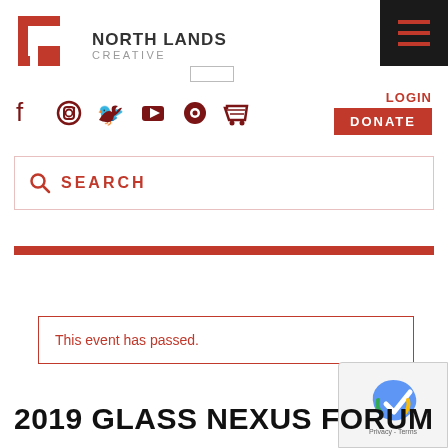[Figure (logo): North Lands Creative logo with red bracket/door icon and text NORTH LANDS CREATIVE]
[Figure (screenshot): Hamburger menu icon (three red lines) on black background in top right corner]
[Figure (infographic): Social media icons: Facebook, Instagram, Twitter, YouTube, a circle icon, and shopping cart in dark red/maroon color]
LOGIN
DONATE
SEARCH
This event has passed.
2019 GLASS NEXUS FORUM